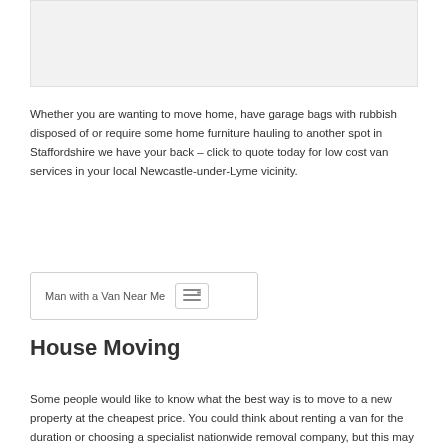[Figure (other): Advertisement placeholder box with light grey background]
Whether you are wanting to move home, have garage bags with rubbish disposed of or require some home furniture hauling to another spot in Staffordshire we have your back – click to quote today for low cost van services in your local Newcastle-under-Lyme vicinity.
Man with a Van Near Me
House Moving
Some people would like to know what the best way is to move to a new property at the cheapest price. You could think about renting a van for the duration or choosing a specialist nationwide removal company, but this may cost several